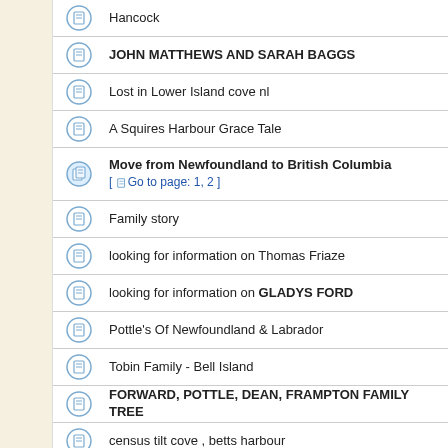Hancock
JOHN MATTHEWS AND SARAH BAGGS
Lost in Lower Island cove nl
A Squires Harbour Grace Tale
Move from Newfoundland to British Columbia
[ Go to page: 1, 2 ]
Family story
looking for information on Thomas Friaze
looking for information on GLADYS FORD
Pottle's Of Newfoundland & Labrador
Tobin Family - Bell Island
FORWARD, POTTLE, DEAN, FRAMPTON FAMILY TREE
census tilt cove , betts harbour